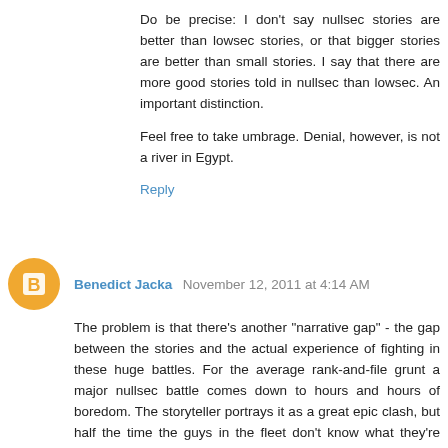Do be precise: I don't say nullsec stories are better than lowsec stories, or that bigger stories are better than small stories. I say that there are more good stories told in nullsec than lowsec. An important distinction.
Feel free to take umbrage. Denial, however, is not a river in Egypt.
Reply
Benedict Jacka November 12, 2011 at 4:14 AM
The problem is that there's another "narrative gap" - the gap between the stories and the actual experience of fighting in these huge battles. For the average rank-and-file grunt a major nullsec battle comes down to hours and hours of boredom. The storyteller portrays it as a great epic clash, but half the time the guys in the fleet don't know what they're doing or even what they're fighting for because the leadership are too paranoid about spies to tell anyone anything. Most ops fizzle out without doing anything and when a fight does happen the lag makes it a nightmare to